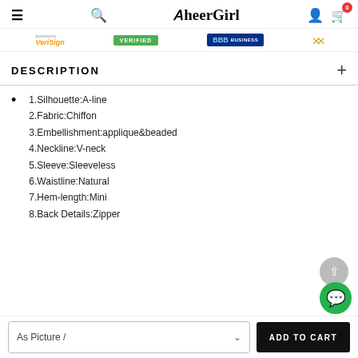SheerGirl — navigation header with hamburger, search, logo, user, cart (0)
[Figure (infographic): Trust badge row: VeriSign powered logo, green VERIFIED badge, BBB BUSINESS badge, golden angel wings icon]
DESCRIPTION
1.Silhouette:A-line
2.Fabric:Chiffon
3.Embellishment:applique&beaded
4.Neckline:V-neck
5.Sleeve:Sleeveless
6.Waistline:Natural
7.Hem-length:Mini
8.Back Details:Zipper
As Picture /  — ADD TO CART